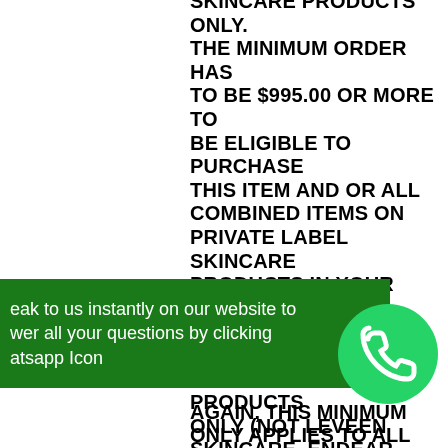SKINCARE PRODUCTS ONLY. THE MINIMUM ORDER HAS TO BE $995.00 OR MORE TO BE ELIGIBLE TO PURCHASE THIS ITEM AND OR ALL COMBINED ITEMS ON PRIVATE LABEL SKINCARE PRODUCTS IN YOUR ORDER. IF YOUR ORDER OF PRIVATE LABEL SKINCARE PRODUCTS ONLY (NOT LEVEEN SKINCARE, ENDEAR SKINCARE OR PROSANA S), DOES NOT MEET THE DISCUSSED.
eak to us instantly on our website to wer all your questions by clicking atsapp Icon
[Figure (illustration): WhatsApp green circle icon with phone handset]
AGAIN, THIS MINIMUM ONLY APPLIES TO ALL